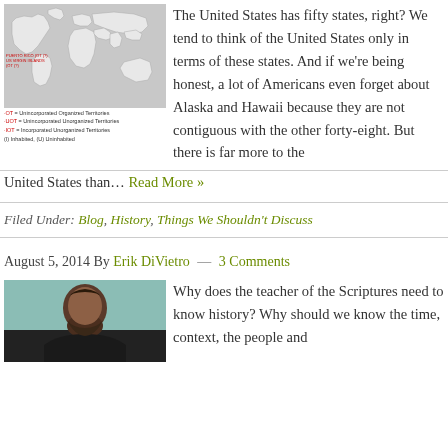[Figure (map): World map showing US territories, with legend indicating Unincorporated Organized Territories, Unincorporated Unorganized Territories, and Incorporated Unorganized Territories. Puerto Rico and US Virgin Islands labeled in red.]
The United States has fifty states, right? We tend to think of the United States only in terms of these states. And if we're being honest, a lot of Americans even forget about Alaska and Hawaii because they are not contiguous with the other forty-eight. But there is far more to the United States than… Read More »
Filed Under: Blog, History, Things We Shouldn't Discuss
August 5, 2014 By Erik DiVietro — 3 Comments
[Figure (photo): Photo of a man with a beard against a teal/green background]
Why does the teacher of the Scriptures need to know history? Why should we know the time, context, the people and...